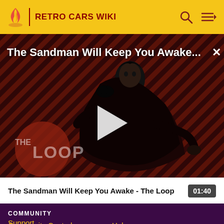RETRO CARS WIKI
[Figure (screenshot): Video thumbnail showing a dark figure in a black cape with a raven, against a red and black diagonal striped background. Title overlay reads 'The Sandman Will Keep You Awake...' with a play button and The Loop logo in the lower left.]
The Sandman Will Keep You Awake - The Loop  01:40
COMMUNITY
Community Central
Help
Support